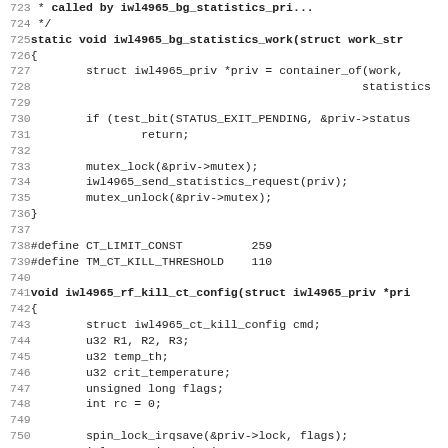[Figure (screenshot): Source code listing in C showing lines 723-755 of a Linux kernel driver file (iwl4965). Lines include function iwl4965_bg_statistics_work, #define macros CT_LIMIT_CONST and TM_CT_KILL_THRESHOLD, and the beginning of function iwl4965_rf_kill_ct_config.]